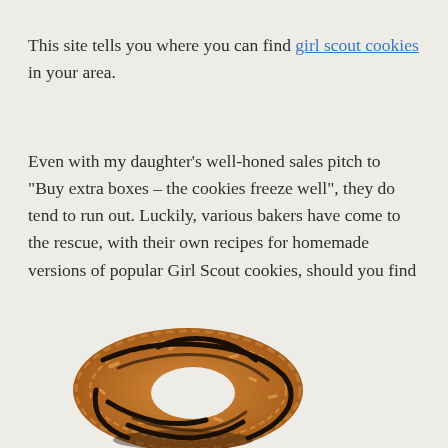This site tells you where you can find girl scout cookies in your area.
Even with my daughter's well-honed sales pitch to “Buy extra boxes – the cookies freeze well”, they do tend to run out. Luckily, various bakers have come to the rescue, with their own recipes for homemade versions of popular Girl Scout cookies, should you find yourself craving a Samoa in November.
[Figure (photo): Close-up photo of a Samoa Girl Scout cookie (a ring-shaped cookie with toasted coconut and chocolate drizzle)]